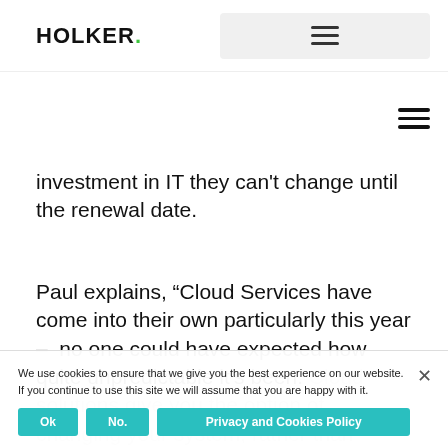HOLKER.
investment in IT they can't change until the renewal date.
Paul explains, “Cloud Services have come into their own particularly this year –  no one could have expected how quite unpredictable it's been. Cloud solutions give you the option of changing your system, rather than holding on to outdated IT or reaching into your pocket for another large sum of money. It gives you the option of not letting your business plan be dictated by IT.
We use cookies to ensure that we give you the best experience on our website. If you continue to use this site we will assume that you are happy with it.